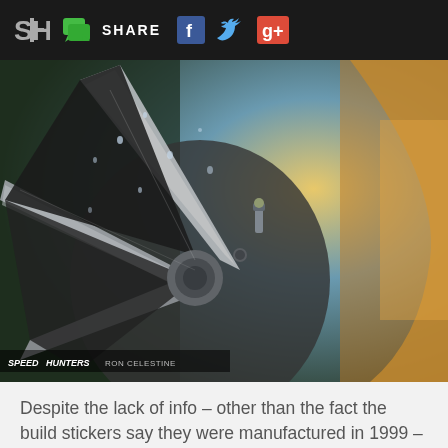SH | SHARE | Facebook | Twitter | Google+
[Figure (photo): Close-up photograph of a silver alloy wheel spoke with tire valve stem visible, water droplets on the wheel surface, shallow depth of field with colorful background blur. Speedhunters watermark with photographer credit Ron Celestine in bottom-left corner.]
Despite the lack of info – other than the fact the build stickers say they were manufactured in 1999 – owning a slice of RAYS history was good enough for me.